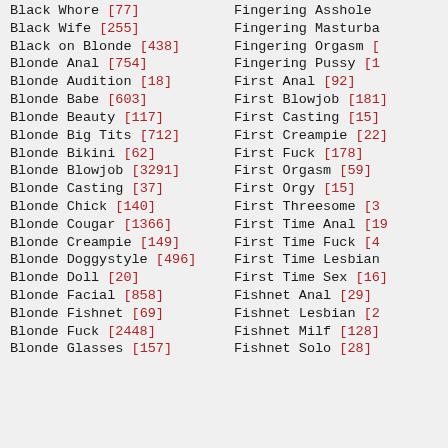Black Whore [77]
Black Wife [255]
Black on Blonde [438]
Blonde Anal [754]
Blonde Audition [18]
Blonde Babe [603]
Blonde Beauty [117]
Blonde Big Tits [712]
Blonde Bikini [62]
Blonde Blowjob [3291]
Blonde Casting [37]
Blonde Chick [140]
Blonde Cougar [1366]
Blonde Creampie [149]
Blonde Doggystyle [496]
Blonde Doll [20]
Blonde Facial [858]
Blonde Fishnet [69]
Blonde Fuck [2448]
Blonde Glasses [157]
Fingering Asshole [...]
Fingering Masturbation [...]
Fingering Orgasm [...]
Fingering Pussy [...]
First Anal [92]
First Blowjob [181]
First Casting [15]
First Creampie [22]
First Fuck [178]
First Orgasm [59]
First Orgy [15]
First Threesome [3...]
First Time Anal [19...]
First Time Fuck [4...]
First Time Lesbian [...]
First Time Sex [16...]
Fishnet Anal [29]
Fishnet Lesbian [2...]
Fishnet Milf [128]
Fishnet Solo [28]